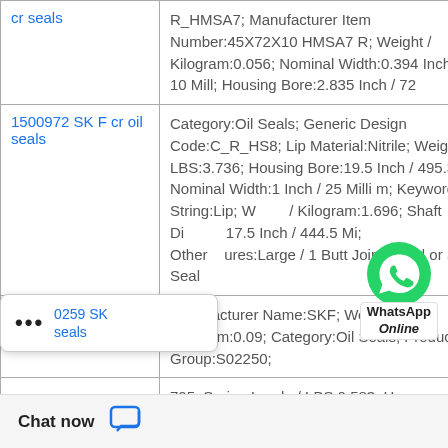| Product | Details |
| --- | --- |
| cr seals | R_HMSA7; Manufacturer Item Number:45X72X10 HMSA7 R; Weight / Kilogram:0.056; Nominal Width:0.394 Inch / 10 Mill; Housing Bore:2.835 Inch / 72 |
| 1500972 SKF cr oil seals | Category:Oil Seals; Generic Design Code:C_R_HS8; Lip Material:Nitrile; Weight / LBS:3.736; Housing Bore:19.5 Inch / 495.3 Mi; Nominal Width:1 Inch / 25 Milli m; Keyword String:Lip; Weight / Kilogram:1.696; Shaft Di... 17.5 Inch / 444.5 Mi; Other ures:Large / 1 Butt Joint; Solid or Split Seal |
| 0259 SK seals | Manufacturer Name:SKF; Weight / Kilogram:0.09; Category:Oil Seals; Product Group:S02250; |
|  | 705; Spring Loade / LBS:0.583; Har |
[Figure (infographic): WhatsApp Online chat button overlay with green WhatsApp icon and 'WhatsApp Online' label]
[Figure (infographic): Popup overlay with X close button and three dots icon, showing partial product link text '0259 SK seals']
Chat now